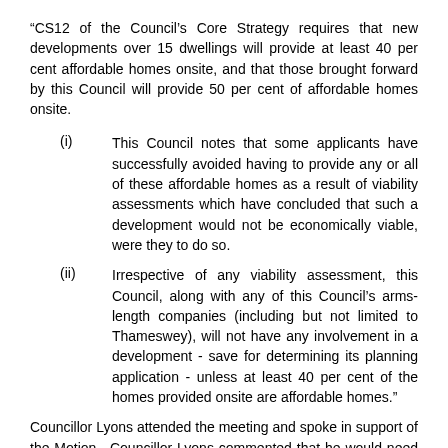“CS12 of the Council’s Core Strategy requires that new developments over 15 dwellings will provide at least 40 per cent affordable homes onsite, and that those brought forward by this Council will provide 50 per cent of affordable homes onsite.
(i) This Council notes that some applicants have successfully avoided having to provide any or all of these affordable homes as a result of viability assessments which have concluded that such a development would not be economically viable, were they to do so.
(ii) Irrespective of any viability assessment, this Council, along with any of this Council’s arms-length companies (including but not limited to Thameswey), will not have any involvement in a development - save for determining its planning application - unless at least 40 per cent of the homes provided onsite are affordable homes.”
Councillor Lyons attended the meeting and spoke in support of the Motion. Councillor Lyons commented that he would need to